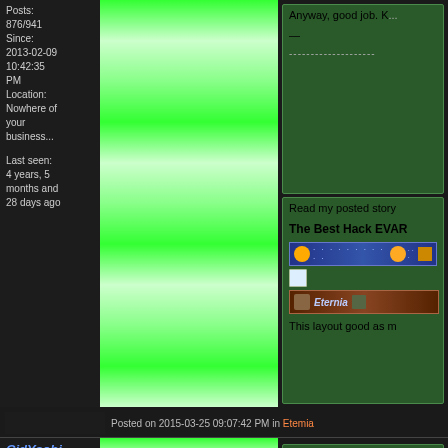Posts: 876/941
Since: 2013-02-09 10:42:35 PM
Location: Nowhere of your business...

Last seen: 4 years, 5 months and 28 days ago
Anyway, good job. K...
--------------------
Read my posted story
The Best Hack EVAR
This layout good as m
Posted on 2015-03-25 09:07:42 PM in Etemia
CidYoshi
Chomp
Avatar's dimensions exceed 150x150.
Posts: 877/941
Since:
Those colors of the ti... feeling changes are go...

So next up music? Ca...
--------------------
Read my posted story